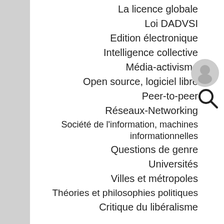La licence globale
Loi DADVSI
Edition électronique
Intelligence collective
Média-activisme
Open source, logiciel libre
Peer-to-peer
Réseaux-Networking
Société de l'information, machines informationnelles
Questions de genre
Universités
Villes et métropoles
Théories et philosophies politiques
Critique du libéralisme